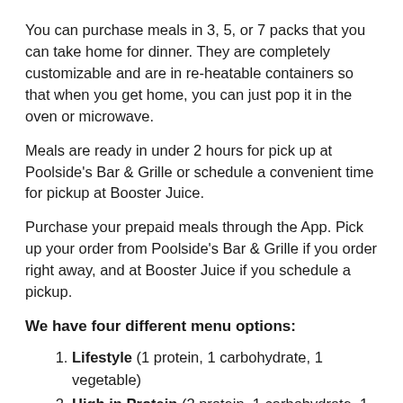You can purchase meals in 3, 5, or 7 packs that you can take home for dinner. They are completely customizable and are in re-heatable containers so that when you get home, you can just pop it in the oven or microwave.
Meals are ready in under 2 hours for pick up at Poolside's Bar & Grille or schedule a convenient time for pickup at Booster Juice.
Purchase your prepaid meals through the App. Pick up your order from Poolside's Bar & Grille if you order right away, and at Booster Juice if you schedule a pickup.
We have four different menu options:
Lifestyle (1 protein, 1 carbohydrate, 1 vegetable)
High in Protein (2 protein, 1 carbohydrate, 1 vegetable)
Vegetarian (0 protein, 1 carbohydrate  2 vegetable)
No Carb (1 protein, 0 carbohydrate, 2 vegetable)
Options as low as $8 per meal. All served in re-heatable containers to take home.